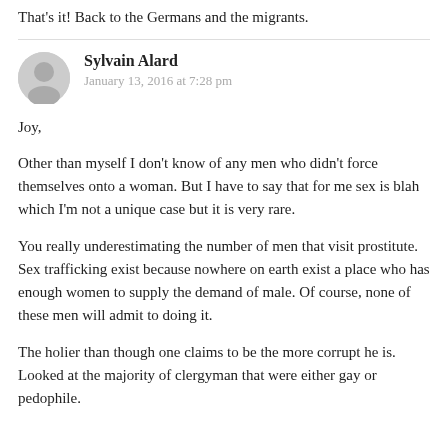That's it! Back to the Germans and the migrants.
Sylvain Alard
January 13, 2016 at 7:28 pm
Joy,
Other than myself I don't know of any men who didn't force themselves onto a woman. But I have to say that for me sex is blah which I'm not a unique case but it is very rare.
You really underestimating the number of men that visit prostitute. Sex trafficking exist because nowhere on earth exist a place who has enough women to supply the demand of male. Of course, none of these men will admit to doing it.
The holier than though one claims to be the more corrupt he is. Looked at the majority of clergyman that were either gay or pedophile.